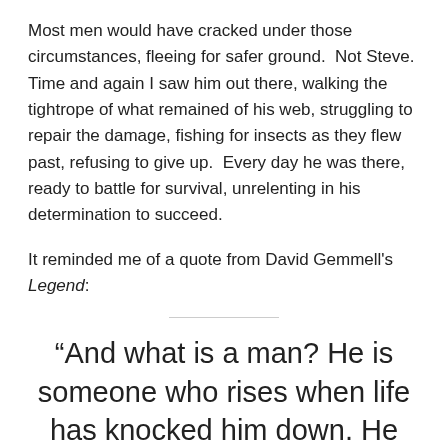Most men would have cracked under those circumstances, fleeing for safer ground.  Not Steve.  Time and again I saw him out there, walking the tightrope of what remained of his web, struggling to repair the damage, fishing for insects as they flew past, refusing to give up.  Every day he was there, ready to battle for survival, unrelenting in his determination to succeed.
It reminded me of a quote from David Gemmell's Legend:
“And what is a man? He is someone who rises when life has knocked him down. He is someone who raises his fist to heaven when a